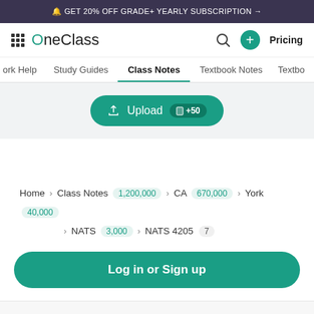🔔 GET 20% OFF GRADE+ YEARLY SUBSCRIPTION →
[Figure (logo): OneClass logo with grid icon and teal apple letter O]
ork Help  Study Guides  Class Notes  Textbook Notes  Textbo
[Figure (other): Upload button with +50 badge]
Home › Class Notes 1,200,000 › CA 670,000 › York 40,000 › NATS 3,000 › NATS 4205 7
[Figure (other): Log in or Sign up button]